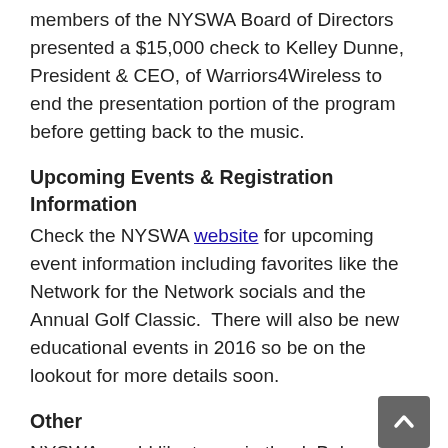members of the NYSWA Board of Directors presented a $15,000 check to Kelley Dunne, President & CEO, of Warriors4Wireless to end the presentation portion of the program before getting back to the music.
Upcoming Events & Registration Information
Check the NYSWA website for upcoming event information including favorites like the Network for the Network socials and the Annual Golf Classic.  There will also be new educational events in 2016 so be on the lookout for more details soon.
Other
NYSWA would like to again thank Bob Holliday for his tireless efforts and wish him well in his